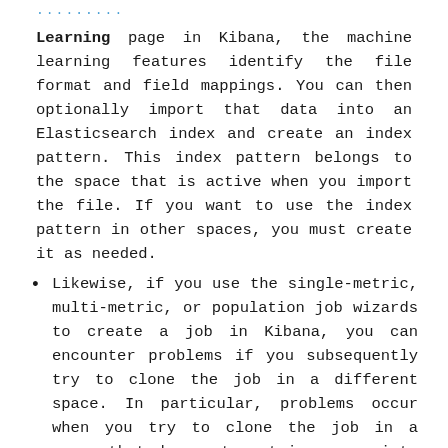Learning page in Kibana, the machine learning features identify the file format and field mappings. You can then optionally import that data into an Elasticsearch index and create an index pattern. This index pattern belongs to the space that is active when you import the file. If you want to use the index pattern in other spaces, you must create it as needed.
Likewise, if you use the single-metric, multi-metric, or population job wizards to create a job in Kibana, you can encounter problems if you subsequently try to clone the job in a different space. In particular, problems occur when you try to clone the job in a space that does not contain appropriate index patterns.
If you used a supplied configuration to create jobs (for example, for Apache or NGINX web access logs), visualizations and dashboards are